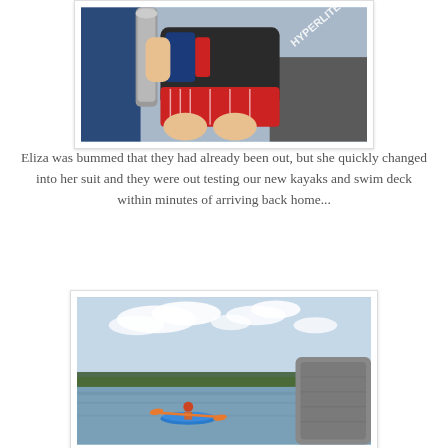[Figure (photo): Child sitting on a boat wearing a life vest and red shorts, with a Hyperlite brand waterski visible in the background]
Eliza was bummed that they had already been out, but she quickly changed into her suit and they were out testing our new kayaks and swim deck within minutes of arriving back home...
[Figure (photo): Person kayaking on a lake with a blue kayak and red paddle, cloudy blue sky and treeline visible in the background, taken from a boat]